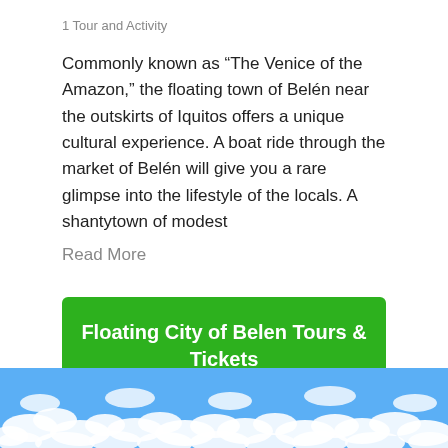1 Tour and Activity
Commonly known as “The Venice of the Amazon,” the floating town of Belén near the outskirts of Iquitos offers a unique cultural experience. A boat ride through the market of Belén will give you a rare glimpse into the lifestyle of the locals. A shantytown of modest
Read More
Floating City of Belen Tours & Tickets
[Figure (photo): Blue sky with scattered white clouds filling the bottom strip of the page]